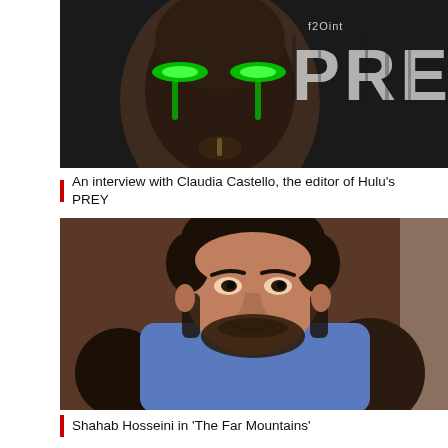[Figure (photo): Movie poster/still from Hulu's PREY — a dark face with green glowing markings, and the word PREY in large distressed letters with '20th' above it]
An interview with Claudia Castello, the editor of Hulu's PREY
[Figure (photo): Actor Shahab Hosseini seated, wearing a blue shirt, with dark background — from the film The Far Mountains]
Shahab Hosseini in 'The Far Mountains'